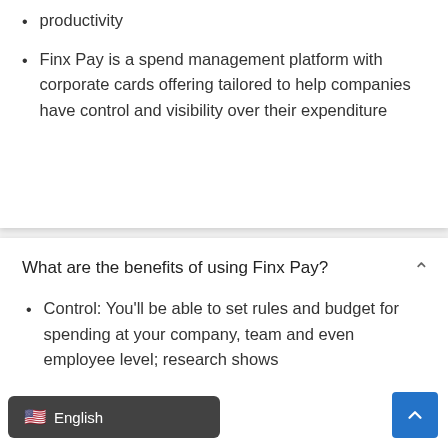productivity
Finx Pay is a spend management platform with corporate cards offering tailored to help companies have control and visibility over their expenditure
What are the benefits of using Finx Pay?
Control: You'll be able to set rules and budget for spending at your company, team and even employee level; research shows